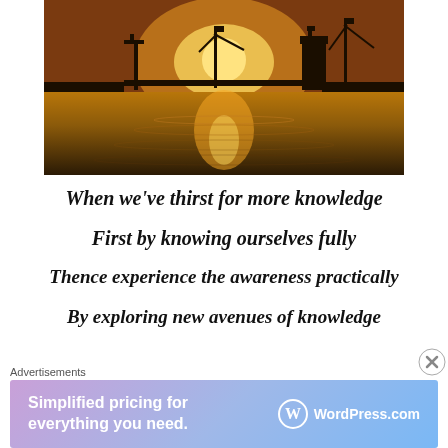[Figure (photo): A sunset over a river with silhouetted industrial structures, cranes, a tower, and flags reflected in the golden water.]
When we've thirst for more knowledge
First by knowing ourselves fully
Thence experience the awareness practically
By exploring new avenues of knowledge
Advertisements
Simplified pricing for everything you need. WordPress.com